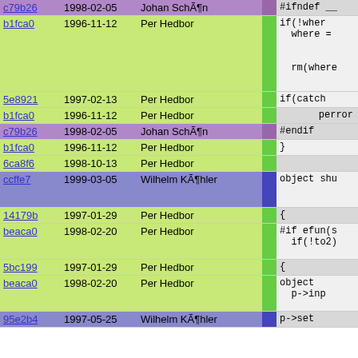| hash | date | author | bar | code |
| --- | --- | --- | --- | --- |
| c79b26 | 1998-02-05 | Johan SchÃ¶n |  | #ifndef __ |
| b1fca0 | 1996-11-12 | Per Hedbor |  | if(!wher
  where =


  rm(where |
| 5e8921 | 1997-02-13 | Per Hedbor |  | if(catch |
| b1fca0 | 1996-11-12 | Per Hedbor |  | perror |
| c79b26 | 1998-02-05 | Johan SchÃ¶n |  | #endif |
| b1fca0 | 1996-11-12 | Per Hedbor |  | } |
| 6ca8f6 | 1998-10-13 | Per Hedbor |  |  |
| ccffe7 | 1999-03-05 | Wilhelm KÃ¶hler |  | object shu |
| 14179b | 1997-01-29 | Per Hedbor |  | { |
| beaca0 | 1998-02-20 | Per Hedbor |  | #if efun(s
  if(!to2) |
| 5bc199 | 1997-01-29 | Per Hedbor |  | { |
| beaca0 | 1998-02-20 | Per Hedbor |  | object
  p->inp |
| 95e2b4 | 1997-05-25 | Wilhelm KÃ¶hler |  | p->set |